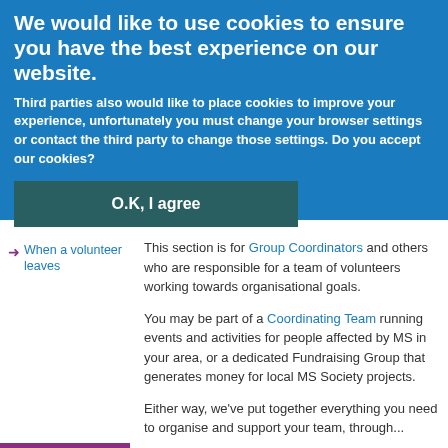We would like to use cookies to ensure you have the best experience on our website.
Third parties also would like to place cookies to improve your experience, unfortunately you must change your browser settings or contact the third party to change those settings. Do you accept our cookies?
O.K, I agree
> No, I want to learn more
When a volunteer leaves
This section is for Group Coordinators and others who are responsible for a team of volunteers working towards organisational goals.
You may be part of a Coordinating Team running events and activities for people affected by MS in your area, or a dedicated Fundraising Group that generates money for local MS Society projects.
Either way, we've put together everything you need to organise and support your team, through...